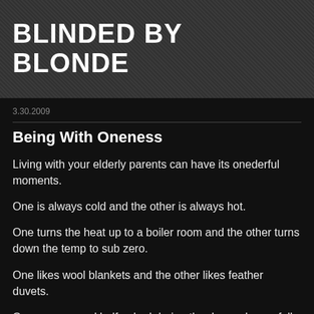BLINDED BY BLONDE
3.30.2009
Being With Oneness
Living with your elderly parents can have its onederful moments.
One is always cold and the other is always hot.
One turns the heat up to a boiler room and the other turns down the temp to sub zero.
One likes wool blankets and the other likes feather duvets.
One runs around half naked during the day and goes full Boticelli late at night in her art room.